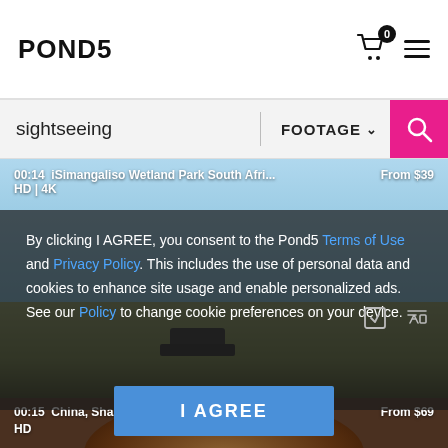POND5
sightseeing | FOOTAGE
[Figure (screenshot): Video thumbnail of iSimangaliso Wetland Park South Africa, showing sky and flat terrain with a vehicle, priced From $39, available in HD | 4K]
00:14  iSimangaliso Wetland Park South Afri...   From $39
HD | 4K
By clicking I AGREE, you consent to the Pond5 Terms of Use and Privacy Policy. This includes the use of personal data and cookies to enhance site usage and enable personalized ads. See our Policy to change cookie preferences on your device.
[Figure (screenshot): Video thumbnail of China, Shanghai, The Bund, Bund Sightseeing, showing circular architectural detail, priced From $69, available in HD]
00:15  China, Shanghai, The Bund, Bund Sigh...   From $69
HD
I AGREE